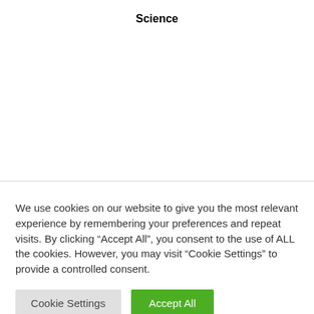Science
We use cookies on our website to give you the most relevant experience by remembering your preferences and repeat visits. By clicking “Accept All”, you consent to the use of ALL the cookies. However, you may visit “Cookie Settings” to provide a controlled consent.
Cookie Settings | Accept All